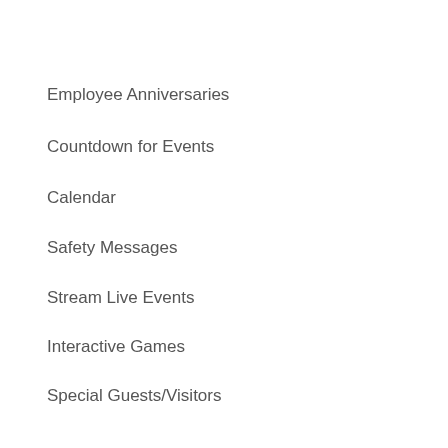Employee Anniversaries
Countdown for Events
Calendar
Safety Messages
Stream Live Events
Interactive Games
Special Guests/Visitors
Parking Information
Facebook